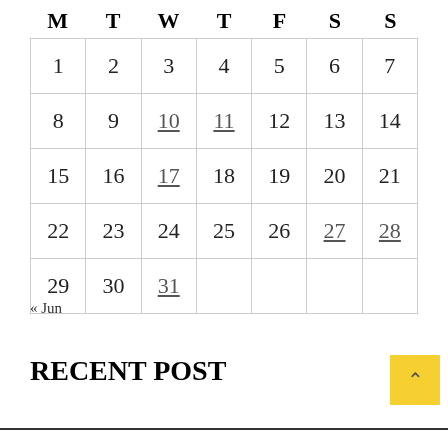| M | T | W | T | F | S | S |
| --- | --- | --- | --- | --- | --- | --- |
| 1 | 2 | 3 | 4 | 5 | 6 | 7 |
| 8 | 9 | 10 | 11 | 12 | 13 | 14 |
| 15 | 16 | 17 | 18 | 19 | 20 | 21 |
| 22 | 23 | 24 | 25 | 26 | 27 | 28 |
| 29 | 30 | 31 |  |  |  |  |
« Jun
RECENT POST